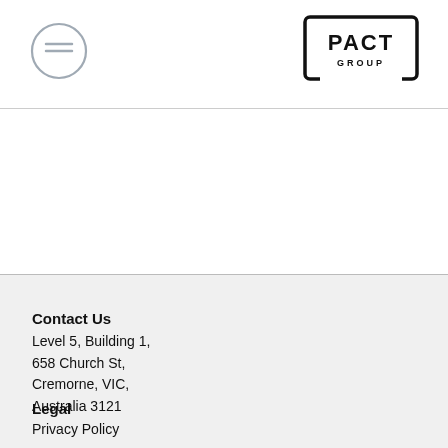[Figure (logo): Pact Group logo with bracket outline and PACT GROUP text]
Contact Us
Level 5, Building 1,
658 Church St,
Cremorne, VIC,
Australia 3121
Legal
Privacy Policy